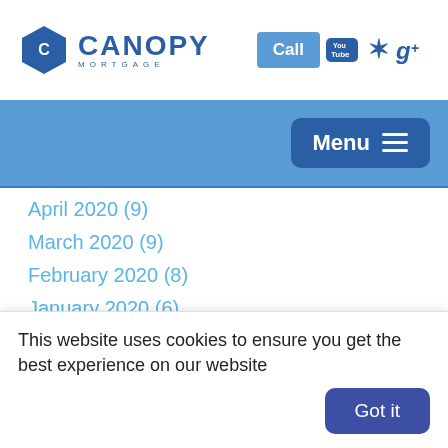Canopy Mortgage — Call, YouTube, Yelp, Google+
Menu
April 2020 (9)
March 2020 (9)
February 2020 (8)
January 2020 (6)
December 2019 (4)
November 2019 (4)
October 2019 (5)
This website uses cookies to ensure you get the best experience on our website
Got it